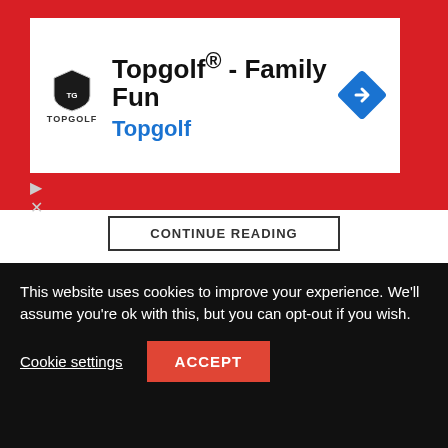[Figure (other): Topgolf advertisement banner with logo, 'Topgolf® - Family Fun' headline, blue 'Topgolf' text, and blue diamond navigation arrow icon on red background]
CONTINUE READING
LOCAL ADS
LAST NEWS
NEWS / 6 mins ago
Pamper yourself with a body scrub
This website uses cookies to improve your experience. We'll assume you're ok with this, but you can opt-out if you wish.
Cookie settings
ACCEPT